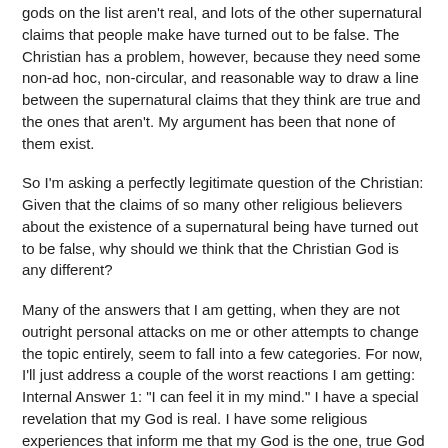gods on the list aren't real, and lots of the other supernatural claims that people make have turned out to be false. The Christian has a problem, however, because they need some non-ad hoc, non-circular, and reasonable way to draw a line between the supernatural claims that they think are true and the ones that aren't. My argument has been that none of them exist.
So I'm asking a perfectly legitimate question of the Christian: Given that the claims of so many other religious believers about the existence of a supernatural being have turned out to be false, why should we think that the Christian God is any different?
Many of the answers that I am getting, when they are not outright personal attacks on me or other attempts to change the topic entirely, seem to fall into a few categories. For now, I'll just address a couple of the worst reactions I am getting: Internal Answer 1: "I can feel it in my mind." I have a special revelation that my God is real. I have some religious experiences that inform me that my God is the one, true God and all of the others, even though those people say the